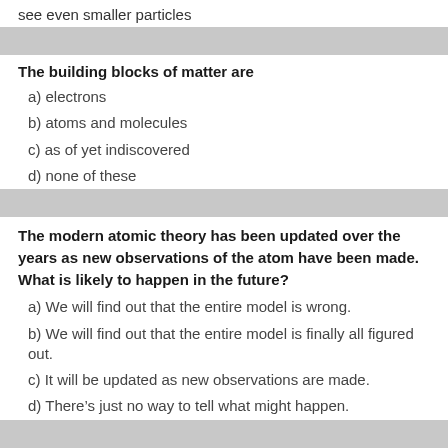see even smaller particles
The building blocks of matter are
a) electrons
b) atoms and molecules
c) as of yet indiscovered
d) none of these
The modern atomic theory has been updated over the years as new observations of the atom have been made. What is likely to happen in the future?
a) We will find out that the entire model is wrong.
b) We will find out that the entire model is finally all figured out.
c) It will be updated as new observations are made.
d) There’s just no way to tell what might happen.